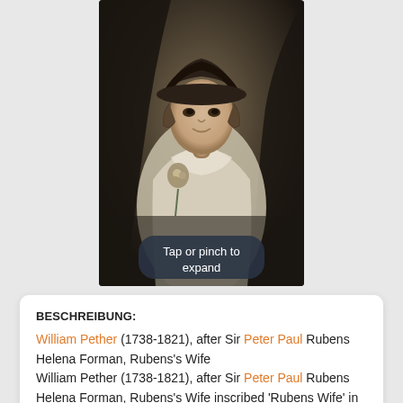[Figure (illustration): Mezzotint engraving portrait of Helena Forman, Rubens's Wife, showing a young woman holding flowers, wearing a hat and lace-trimmed dress, in a dark chiaroscuro style. Overlaid with a 'Tap or pinch to expand' tooltip.]
BESCHREIBUNG:
William Pether (1738-1821), after Sir Peter Paul Rubens
Helena Forman, Rubens's Wife
William Pether (1738-1821), after Sir Peter Paul Rubens Helena Forman, Rubens's Wife inscribed 'Rubens Wife' in pencil mezzotint on laid paper, good impression with narrow margins, scratch letter proof before title, published by W.Pether, London